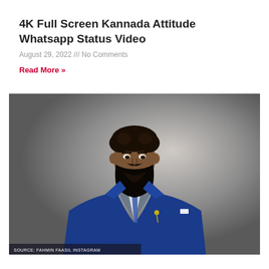4K Full Screen Kannada Attitude Whatsapp Status Video
August 29, 2022 /// No Comments
Read More »
[Figure (photo): A man with long curly hair and a long dark beard wearing a royal blue blazer with a grey vest and blue tie, standing/sitting against a grey background. A source watermark at the bottom reads: SOURCE: FAHMIN FAASIL INSTAGRAM]